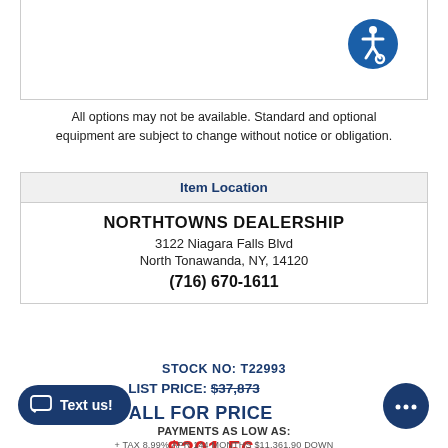[Figure (logo): Accessibility icon — blue circle with white wheelchair person symbol]
All options may not be available. Standard and optional equipment are subject to change without notice or obligation.
| Item Location |
| --- |
| NORTHTOWNS DEALERSHIP
3122 Niagara Falls Blvd
North Tonawanda, NY, 14120
(716) 670-1611 |
STOCK NO: T22993
LIST PRICE: $37,873
CALL FOR PRICE
PAYMENTS AS LOW AS:
$301.56/MO
+ TAX 8.99% APR 144 MONTHS $11,361.90 DOWN